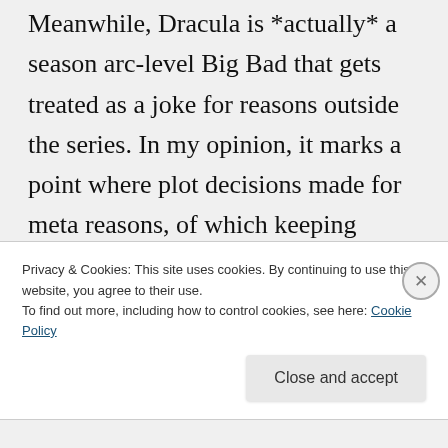Xander is stuck in his side story. Meanwhile, Dracula is *actually* a season arc-level Big Bad that gets treated as a joke for reasons outside the series. In my opinion, it marks a point where plot decisions made for meta reasons, of which keeping Spike around because he's a fan favorite is the most obvious, begin to overtake the show and make the characters so
Privacy & Cookies: This site uses cookies. By continuing to use this website, you agree to their use.
To find out more, including how to control cookies, see here: Cookie Policy